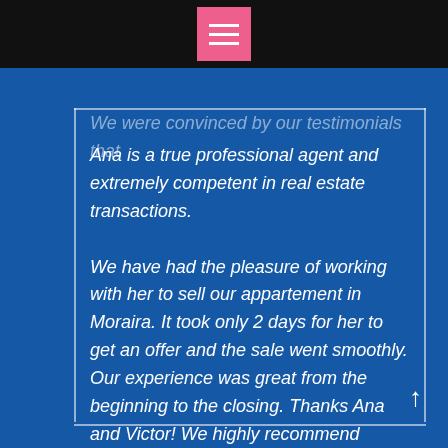[Figure (other): Pink hamburger menu button on black top bar]
We were convinced by our testimonials that Ana is a true professional agent and extremely competent in real estate transactions.

We have had the pleasure of working with her to sell our appartement in Moraira. It took only 2 days for her to get an offer and the sale went smoothly. Our experience was great from the beginning to the closing. Thanks Ana and Victor! We highly recommend Watkins Wilson to anyone selling or buying a property. Five Stars! ⭐⭐⭐⭐⭐